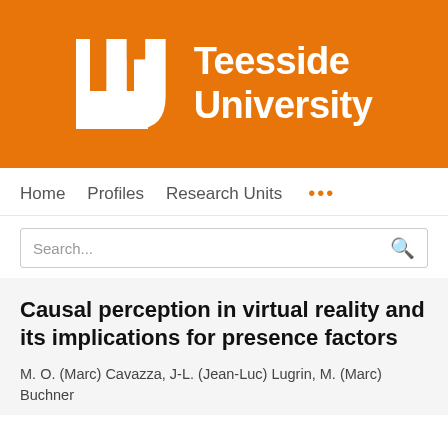[Figure (logo): Teesside University logo: white U-shaped letter mark on orange background with 'Teesside University' text in white]
Home   Profiles   Research Units   ...
Search...
Causal perception in virtual reality and its implications for presence factors
M. O. (Marc) Cavazza, J-L. (Jean-Luc) Lugrin, M. (Marc) Buchner